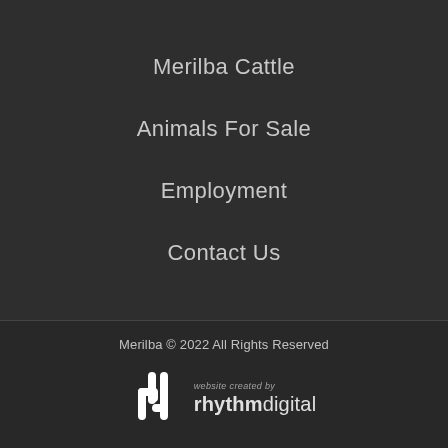Merilba Cattle
Animals For Sale
Employment
Contact Us
Merilba © 2022 All Rights Reserved
[Figure (logo): Rhythm Digital logo: stylized 'rd' monogram in white with text 'website created by rhythmdigital']